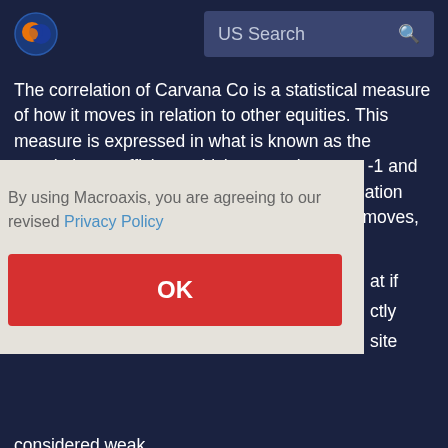US Search
The correlation of Carvana Co is a statistical measure of how it moves in relation to other equities. This measure is expressed in what is known as the correlation coefficient, which ranges between -1 and +1. A perfect positive correlation (i.e., a correlation coefficient of +1) implies that as Carvana Co moves, either up or down,
By using Macroaxis, you are agreeing to our revised Privacy Policy
OK
at if
ctly
site
considered weak